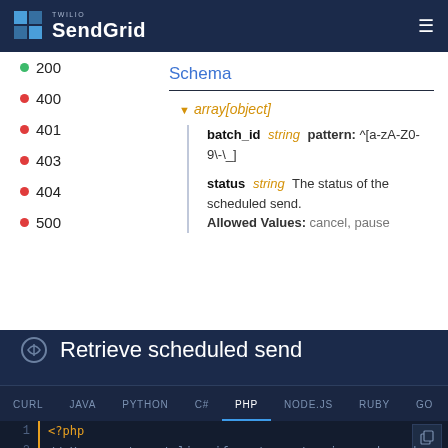Twilio SendGrid
Schema
200
400
401
403
404
500
array[object]
batch_id  string  pattern: ^[a-zA-Z0-9\-\_]
status  string  The status of the scheduled send. Allowed Values: cancel, pause
Retrieve scheduled send
CURL  JAVA  PYTHON  C#  PHP  NODE.JS  RUBY  GO  >5.6
<?php
// Uncomment next line if you're not using a dependen
// require_once |<PATH_TO>/sendgrid-php/sho